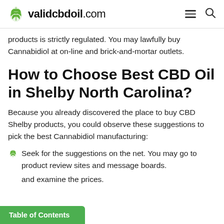validcbdoil.com
products is strictly regulated. You may lawfully buy Cannabidiol at on-line and brick-and-mortar outlets.
How to Choose Best CBD Oil in Shelby North Carolina?
Because you already discovered the place to buy CBD Shelby products, you could observe these suggestions to pick the best Cannabidiol manufacturing:
Seek for the suggestions on the net. You may go to product review sites and message boards.
and examine the prices.